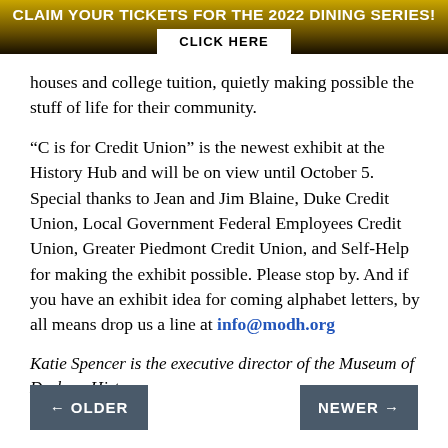CLAIM YOUR TICKETS FOR THE 2022 DINING SERIES! CLICK HERE
houses and college tuition, quietly making possible the stuff of life for their community.
“C is for Credit Union” is the newest exhibit at the History Hub and will be on view until October 5. Special thanks to Jean and Jim Blaine, Duke Credit Union, Local Government Federal Employees Credit Union, Greater Piedmont Credit Union, and Self-Help for making the exhibit possible. Please stop by. And if you have an exhibit idea for coming alphabet letters, by all means drop us a line at info@modh.org
Katie Spencer is the executive director of the Museum of Durham History.
← OLDER    NEWER →